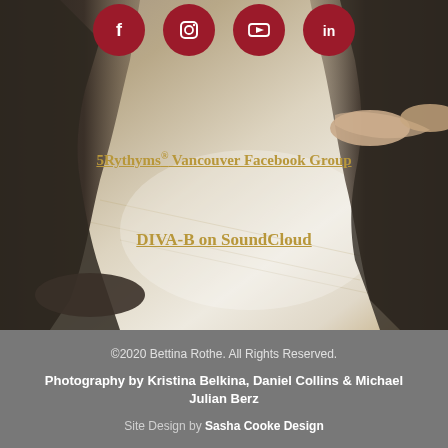[Figure (photo): Blurred background photo of dancers' legs and feet on a wooden dance floor with warm tones. Four dark red circular social media icons (Facebook, Instagram, YouTube, LinkedIn) overlaid at the top. Two text links overlaid: '5Rythyms® Vancouver Facebook Group' and 'DIVA-B on SoundCloud' in gold/dark-yellow bold underlined text.]
©2020 Bettina Rothe. All Rights Reserved.
Photography by Kristina Belkina, Daniel Collins & Michael Julian Berz
Site Design by Sasha Cooke Design